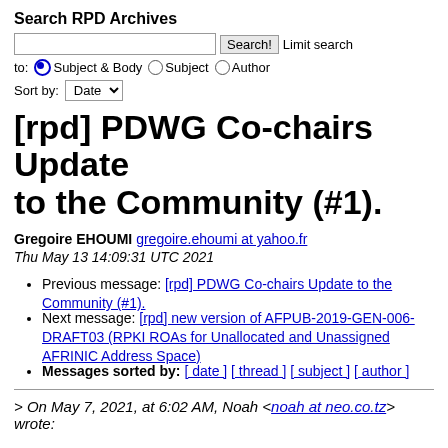Search RPD Archives
Search! Limit search to: Subject & Body / Subject / Author Sort by: Date
[rpd] PDWG Co-chairs Update to the Community (#1).
Gregoire EHOUMI gregoire.ehoumi at yahoo.fr
Thu May 13 14:09:31 UTC 2021
Previous message: [rpd] PDWG Co-chairs Update to the Community (#1).
Next message: [rpd] new version of AFPUB-2019-GEN-006-DRAFT03 (RPKI ROAs for Unallocated and Unassigned AFRINIC Address Space)
Messages sorted by: [ date ] [ thread ] [ subject ] [ author ]
> On May 7, 2021, at 6:02 AM, Noah <noah at neo.co.tz> wrote: